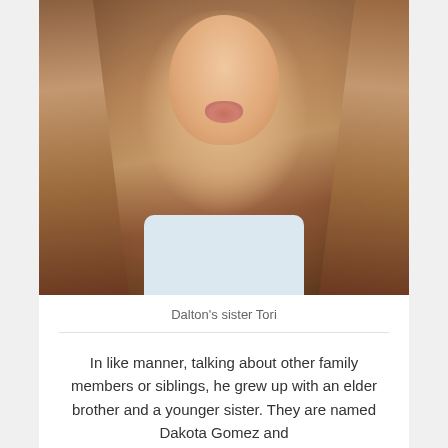[Figure (photo): A young woman with long highlighted brown/blonde hair making a pout/kiss face expression, sitting in a car, wearing a light blue top.]
Dalton's sister Tori
In like manner, talking about other family members or siblings, he grew up with an elder brother and a younger sister. They are named Dakota Gomez and